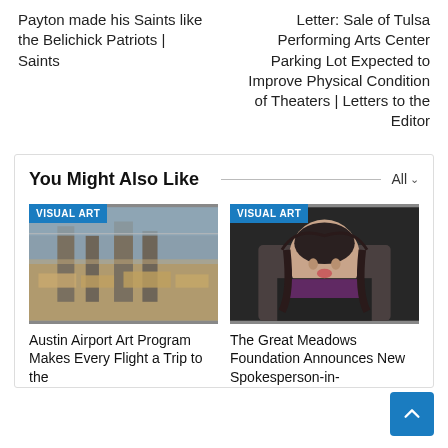Payton made his Saints like the Belichick Patriots | Saints
Letter: Sale of Tulsa Performing Arts Center Parking Lot Expected to Improve Physical Condition of Theaters | Letters to the Editor
You Might Also Like
[Figure (photo): Industrial or warehouse interior with large machinery and steel structures, labeled VISUAL ART]
Austin Airport Art Program Makes Every Flight a Trip to the
[Figure (photo): Portrait of a woman with long dark hair against a dark background, labeled VISUAL ART]
The Great Meadows Foundation Announces New Spokesperson-in-